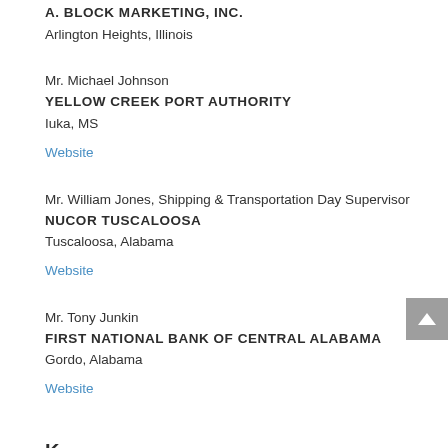A. BLOCK MARKETING, INC.
Arlington Heights, Illinois
Mr. Michael Johnson
YELLOW CREEK PORT AUTHORITY
Iuka, MS
Website
Mr. William Jones, Shipping & Transportation Day Supervisor
NUCOR TUSCALOOSA
Tuscaloosa, Alabama
Website
Mr. Tony Junkin
FIRST NATIONAL BANK OF CENTRAL ALABAMA
Gordo, Alabama
Website
K